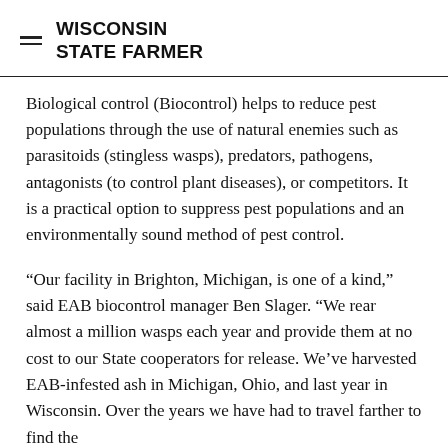WISCONSIN STATE FARMER
Biological control (Biocontrol) helps to reduce pest populations through the use of natural enemies such as parasitoids (stingless wasps), predators, pathogens, antagonists (to control plant diseases), or competitors. It is a practical option to suppress pest populations and an environmentally sound method of pest control.
“Our facility in Brighton, Michigan, is one of a kind,” said EAB biocontrol manager Ben Slager. “We rear almost a million wasps each year and provide them at no cost to our State cooperators for release. We’ve harvested EAB-infested ash in Michigan, Ohio, and last year in Wisconsin. Over the years we have had to travel farther to find the material we need.”